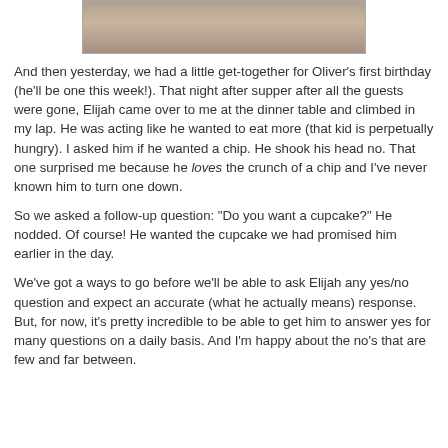[Figure (photo): Partial photo of a child, cropped at top of page]
And then yesterday, we had a little get-together for Oliver's first birthday (he'll be one this week!). That night after supper after all the guests were gone, Elijah came over to me at the dinner table and climbed in my lap. He was acting like he wanted to eat more (that kid is perpetually hungry). I asked him if he wanted a chip. He shook his head no. That one surprised me because he loves the crunch of a chip and I've never known him to turn one down.
So we asked a follow-up question: "Do you want a cupcake?" He nodded. Of course! He wanted the cupcake we had promised him earlier in the day.
We've got a ways to go before we'll be able to ask Elijah any yes/no question and expect an accurate (what he actually means) response. But, for now, it's pretty incredible to be able to get him to answer yes for many questions on a daily basis. And I'm happy about the no's that are few and far between.